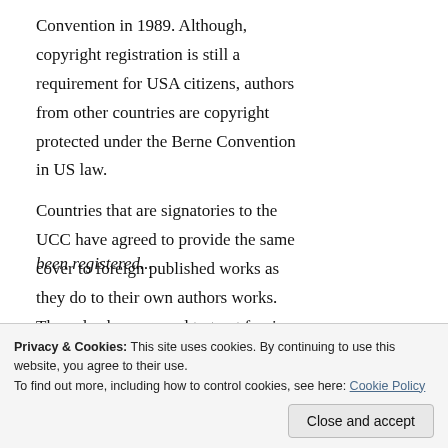Convention in 1989. Although, copyright registration is still a requirement for USA citizens, authors from other countries are copyright protected under the Berne Convention in US law.
Countries that are signatories to the UCC have agreed to provide the same cover to foreign published works as they do to their own authors works. They also have agreed to treat foreign copyrighted works as if they had
Privacy & Cookies: This site uses cookies. By continuing to use this website, you agree to their use.
To find out more, including how to control cookies, see here: Cookie Policy